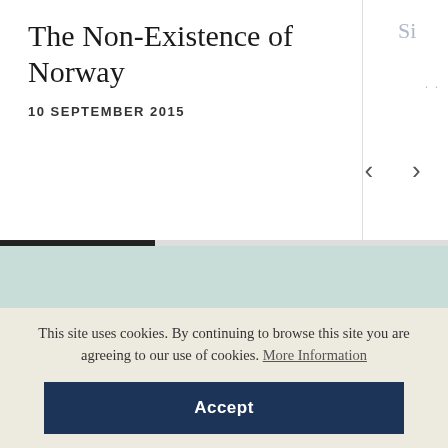The Non-Existence of Norway
10 SEPTEMBER 2015
This site uses cookies. By continuing to browse this site you are agreeing to our use of cookies. More Information
Accept